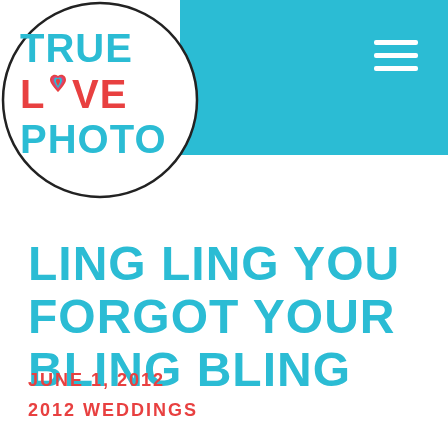[Figure (logo): True Love Photo logo with cyan circle background, text reading TRUE LOVE PHOTO with a heart replacing the O in LOVE, inside a white circle with black border]
LING LING YOU FORGOT YOUR BLING BLING
JUNE 1, 2012
2012 WEDDINGS